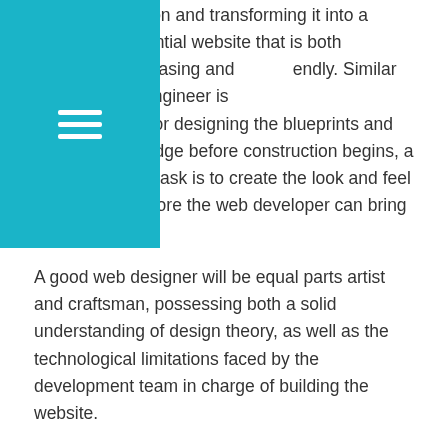of a client's vision and transforming it into a model of a potential website that is both aesthetically pleasing and friendly. Similar to the way an engineer is sible for designing the blueprints and models for a bridge before construction begins, a web designer's task is to create the look and feel of a website before the web developer can bring it to life.
A good web designer will be equal parts artist and craftsman, possessing both a solid understanding of design theory, as well as the technological limitations faced by the development team in charge of building the website.
A web designer's job description includes skills such as:
Knowledge and proficiency in both logo and